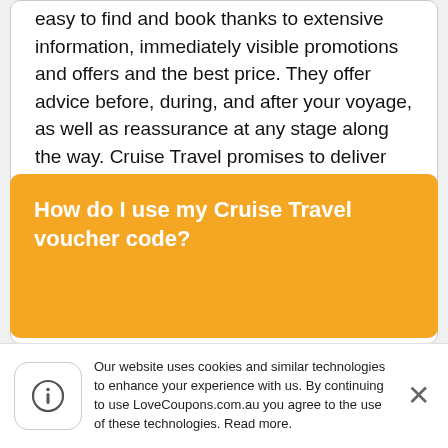easy to find and book thanks to extensive information, immediately visible promotions and offers and the best price. They offer advice before, during, and after your voyage, as well as reassurance at any stage along the way. Cruise Travel promises to deliver everything a cruise store should: the most up-to-date information on cruise holidays, the ability to book cruises online, and more.
About Cruise Travel Homepage
.
How do I use my Cruise Travel voucher code?
Our website uses cookies and similar technologies to enhance your experience with us. By continuing to use LoveCoupons.com.au you agree to the use of these technologies. Read more.